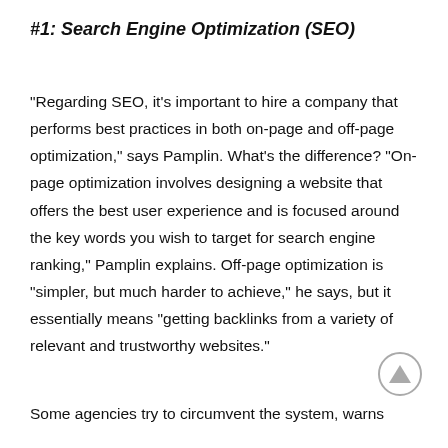#1: Search Engine Optimization (SEO)
“Regarding SEO, it’s important to hire a company that performs best practices in both on-page and off-page optimization,” says Pamplin. What’s the difference? “On-page optimization involves designing a website that offers the best user experience and is focused around the key words you wish to target for search engine ranking,” Pamplin explains. Off-page optimization is “simpler, but much harder to achieve,” he says, but it essentially means “getting backlinks from a variety of relevant and trustworthy websites.”
Some agencies try to circumvent the system, warns